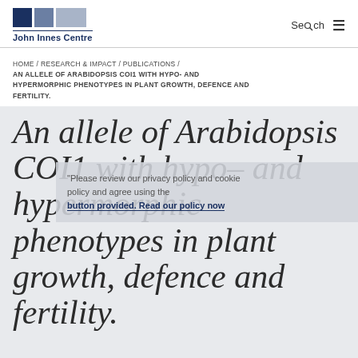John Innes Centre | Search
HOME / RESEARCH & IMPACT / PUBLICATIONS / AN ALLELE OF ARABIDOPSIS COI1 WITH HYPO- AND HYPERMORPHIC PHENOTYPES IN PLANT GROWTH, DEFENCE AND FERTILITY.
An allele of Arabidopsis COI1 with hypo– and hypermorphic phenotypes in plant growth, defence and fertility.
Please review our privacy policy and cookie policy and agree using the button provided. Read our policy now